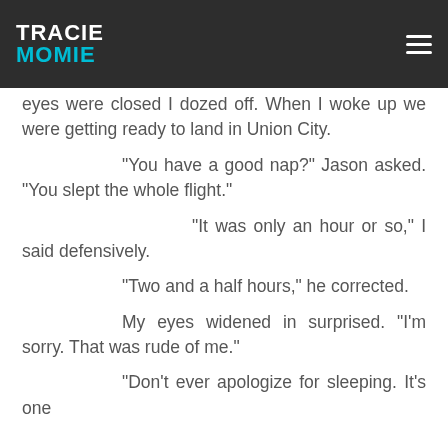TRACIE MOMIE
eyes were closed I dozed off. When I woke up we were getting ready to land in Union City.
“You have a good nap?” Jason asked. “You slept the whole flight.”
“It was only an hour or so,” I said defensively.
“Two and a half hours,” he corrected.
My eyes widened in surprised. “I’m sorry. That was rude of me.”
“Don’t ever apologize for sleeping. It’s one